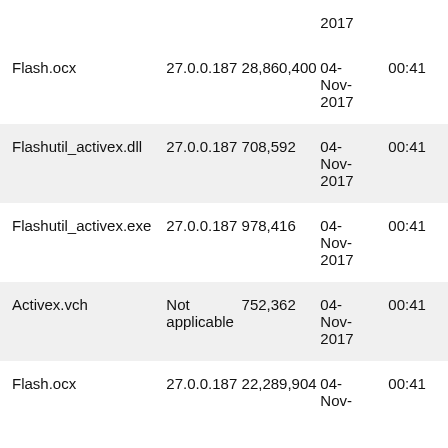| File name | File version | File size | Date | Time |
| --- | --- | --- | --- | --- |
|  |  |  | 2017 |  |
| Flash.ocx | 27.0.0.187 | 28,860,400 | 04-Nov-2017 | 00:41 |
| Flashutil_activex.dll | 27.0.0.187 | 708,592 | 04-Nov-2017 | 00:41 |
| Flashutil_activex.exe | 27.0.0.187 | 978,416 | 04-Nov-2017 | 00:41 |
| Activex.vch | Not applicable | 752,362 | 04-Nov-2017 | 00:41 |
| Flash.ocx | 27.0.0.187 | 22,289,904 | 04-Nov- | 00:41 |